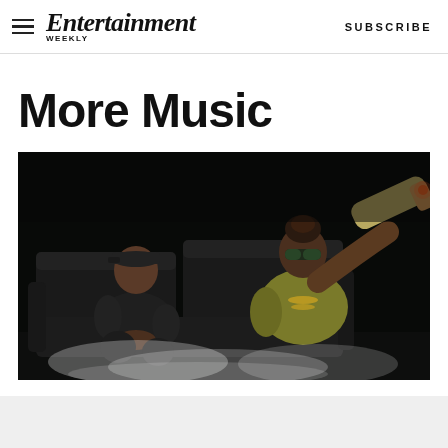Entertainment Weekly — SUBSCRIBE
More Music
[Figure (photo): Two rappers seated on a black leather couch on a dark stage. One on the left wearing a black cap and dark outfit, reclined. The other on the right wearing sunglasses and a gold/olive jacket, holding a large oversized prop blunt/joint, with smoke/haze at the bottom.]